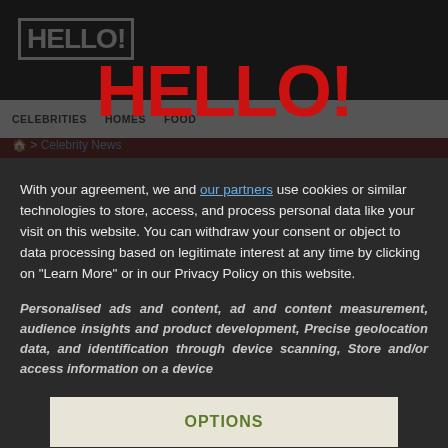[Figure (screenshot): HELLO! magazine website screenshot showing logo, navigation bar with CELEBRITIES, HOMES, FOOD menu items, and Celebrity News breadcrumb, used as blurred background]
[Figure (logo): Large red HELLO! logo centered in the consent modal overlay]
With your agreement, we and our partners use cookies or similar technologies to store, access, and process personal data like your visit on this website. You can withdraw your consent or object to data processing based on legitimate interest at any time by clicking on "Learn More" or in our Privacy Policy on this website.
Personalised ads and content, ad and content measurement, audience insights and product development, Precise geolocation data, and identification through device scanning, Store and/or access information on a device
OPTIONS
I AGREE